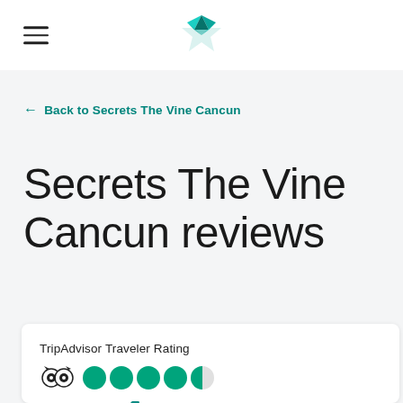[Figure (logo): TripAdvisor/travel booking website logo — teal origami bird/star shape in navigation bar]
← Back to Secrets The Vine Cancun
Secrets The Vine Cancun reviews
TripAdvisor Traveler Rating
[Figure (other): TripAdvisor owl logo and 4.5 green circle rating bubbles (4 full, 1 half)]
15608 Reviews
4.5 Excellent